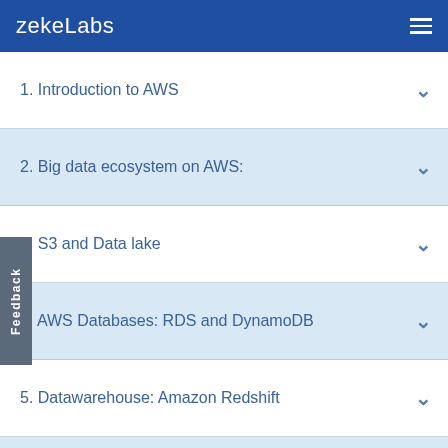zekeLabs
1. Introduction to AWS
2. Big data ecosystem on AWS:
3. S3 and Data lake
4. AWS Databases: RDS and DynamoDB
5. Datawarehouse: Amazon Redshift
6. ETL with AWS Glue
7. Data Processing with EMR and Kinesis